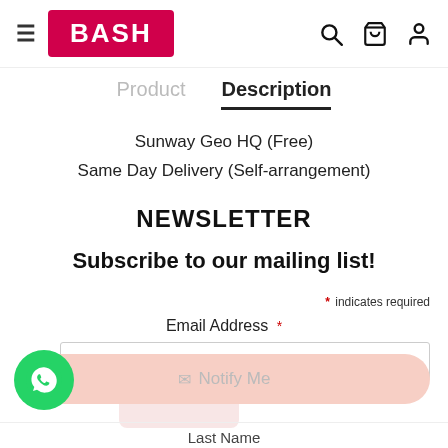BASH
Product  Description
Sunway Geo HQ (Free)
Same Day Delivery (Self-arrangement)
NEWSLETTER
Subscribe to our mailing list!
* indicates required
Email Address *
First Name
Notify Me
Last Name